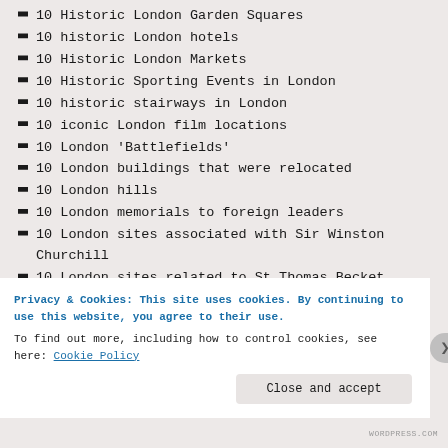10 Historic London Garden Squares
10 historic London hotels
10 Historic London Markets
10 Historic Sporting Events in London
10 historic stairways in London
10 iconic London film locations
10 London 'Battlefields'
10 London buildings that were relocated
10 London hills
10 London memorials to foreign leaders
10 London sites associated with Sir Winston Churchill
10 London sites related to St Thomas Becket
10 London sites to celebrate Charles Dickens
10 London subterranean sites
10 modern icons of London
Privacy & Cookies: This site uses cookies. By continuing to use this website, you agree to their use. To find out more, including how to control cookies, see here: Cookie Policy
WORDPRESS.COM